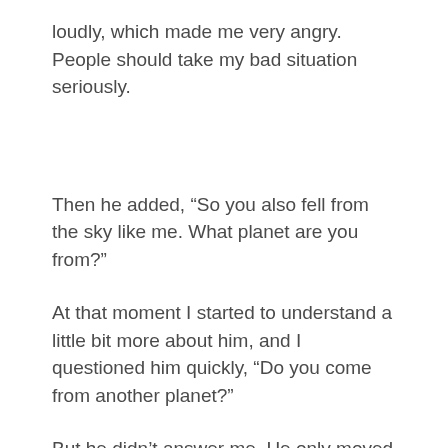loudly, which made me very angry. People should take my bad situation seriously.
Then he added, “So you also fell from the sky like me. What planet are you from?”
At that moment I started to understand a little bit more about him, and I questioned him quickly, “Do you come from another planet?”
But he didn’t answer me. He only moved his head gently. He kept looking at my plane.